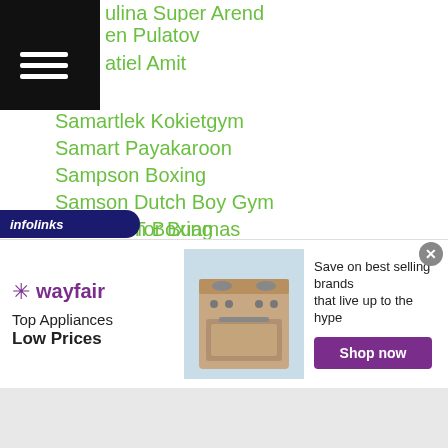ulina Super Arend
en Pulatov
atiel Amit
Samartlek Kokietgym
Samart Payakaroon
Sampson Boxing
Samson Dutch Boy Gym
Samson Tor Buamas
Samuel Salva
Sa Myung Noh
Sana Hazuki
Sang Geun Lee
Sang Hun Oh
Sang Oh Kim
Sanjarbek Rakhmanov
Sanjar Tursunov
n Boxing
[Figure (infographic): Wayfair advertisement banner showing Top Appliances Low Prices with a stove image and Shop now button]